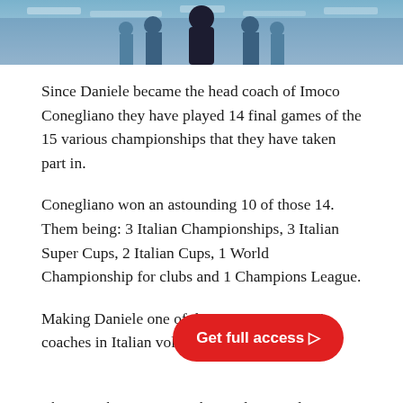[Figure (photo): Cropped bottom portion of a sports photo showing a coach in dark suit among players in a blue-lit arena setting]
Since Daniele became the head coach of Imoco Conegliano they have played 14 final games of the 15 various championships that they have taken part in.
Conegliano won an astounding 10 of those 14. Them being: 3 Italian Championships, 3 Italian Super Cups, 2 Italian Cups, 1 World Championship for clubs and 1 Champions League.
Making Daniele one of the most 'winningest' coaches in Italian volleyball...e
This was the 'easy', popular media introduction, but volleybrains goes deeper than that. We had a great